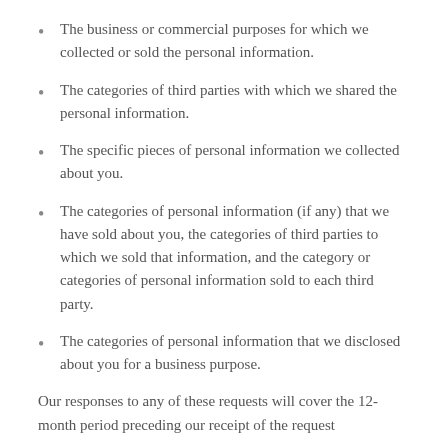The business or commercial purposes for which we collected or sold the personal information.
The categories of third parties with which we shared the personal information.
The specific pieces of personal information we collected about you.
The categories of personal information (if any) that we have sold about you, the categories of third parties to which we sold that information, and the category or categories of personal information sold to each third party.
The categories of personal information that we disclosed about you for a business purpose.
Our responses to any of these requests will cover the 12-month period preceding our receipt of the request